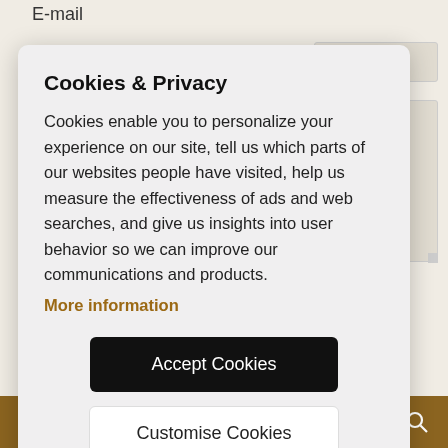E-mail
Cookies & Privacy
Cookies enable you to personalize your experience on our site, tell us which parts of our websites people have visited, help us measure the effectiveness of ads and web searches, and give us insights into user behavior so we can improve our communications and products.
More information
Accept Cookies
Customise Cookies
information ill automatically at any time*